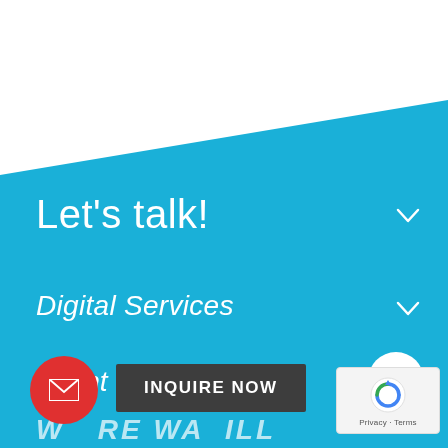[Figure (screenshot): Website screenshot with light blue background and diagonal white shape at top. Contains navigation/footer items: 'Let's talk!', 'Digital Services', 'Client Care', a red email button, an 'INQUIRE NOW' dark button, an up-arrow circle button, a reCAPTCHA badge, and partial bottom text.]
Let's talk!
Digital Services
Client Care
INQUIRE NOW
Privacy · Terms